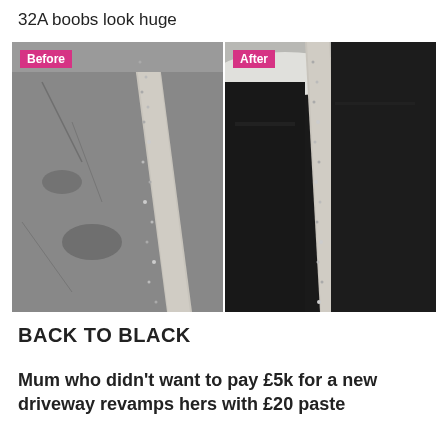32A boobs look huge
[Figure (photo): Side-by-side before and after photos of a driveway. Left photo labeled 'Before' shows an old, faded, cracked asphalt driveway with gravel border. Right photo labeled 'After' shows the same driveway looking dark black and renewed, with gravel border.]
BACK TO BLACK
Mum who didn't want to pay £5k for a new driveway revamps hers with £20 paste